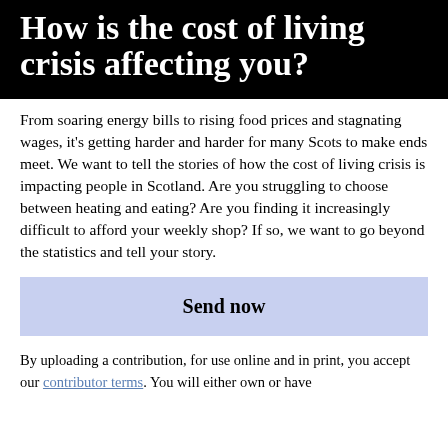How is the cost of living crisis affecting you?
From soaring energy bills to rising food prices and stagnating wages, it's getting harder and harder for many Scots to make ends meet. We want to tell the stories of how the cost of living crisis is impacting people in Scotland. Are you struggling to choose between heating and eating? Are you finding it increasingly difficult to afford your weekly shop? If so, we want to go beyond the statistics and tell your story.
Send now
By uploading a contribution, for use online and in print, you accept our contributor terms. You will either own or have